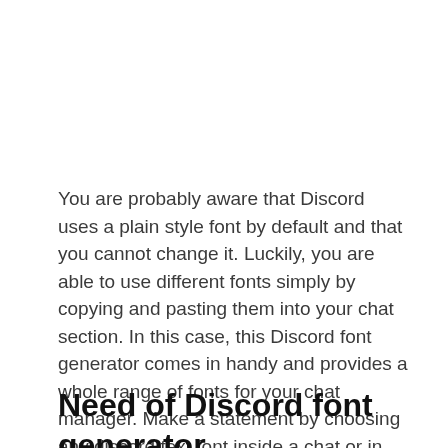You are probably aware that Discord uses a plain style font by default and that you cannot change it. Luckily, you are able to use different fonts simply by copying and pasting them into your chat section. In this case, this Discord font generator comes in handy and provides a whole range of fonts for your chat manager. Make a statement by choosing any discord text font inside a chat or in your profile.
Need of Discord font generator